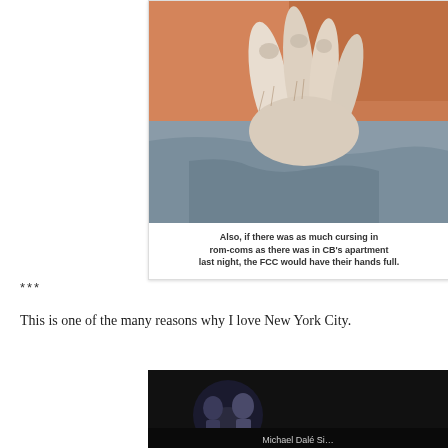[Figure (photo): Close-up photo of hands/fingers and grey fabric, appears to be a person holding or resting hands in lap, warm-toned background]
Also, if there was as much cursing in rom-coms as there was in CB's apartment last night, the FCC would have their hands full.
***
This is one of the many reasons why I love New York City.
[Figure (screenshot): Dark screenshot showing partial text at bottom, appears to be a video or media player with text partially visible]